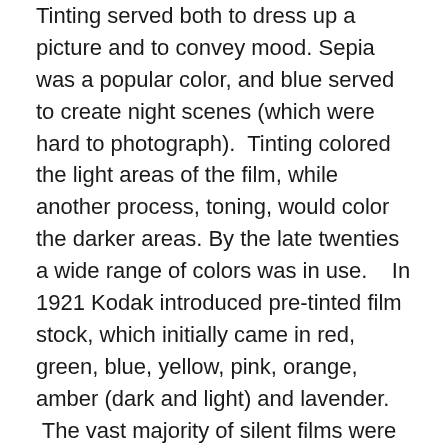Tinting served both to dress up a picture and to convey mood. Sepia was a popular color, and blue served to create night scenes (which were hard to photograph). Tinting colored the light areas of the film, while another process, toning, would color the darker areas. By the late twenties a wide range of colors was in use.   In 1921 Kodak introduced pre-tinted film stock, which initially came in red, green, blue, yellow, pink, orange, amber (dark and light) and lavender.  The vast majority of silent films were tinted in one way or another, and use of the process died out with sound films because of cost, the amount of time it consumed, and because coloring the film interfered with the soundtrack.
Title cards: Printed captions inserted into a film to explain action or add dialogue. Early titles were often in plain letters, were short and served only to clear up possible